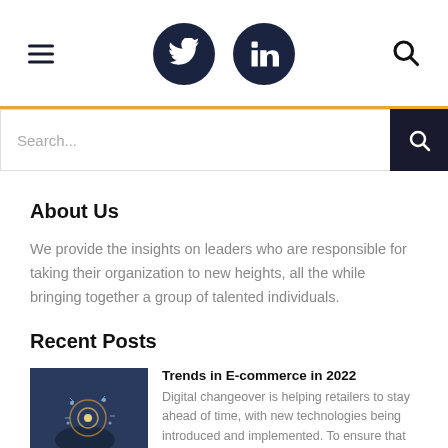Navigation bar with hamburger menu, Twitter icon, LinkedIn icon, and search icon
[Figure (screenshot): Search input bar with dark search button on the right]
About Us
We provide the insights on leaders who are responsible for taking their organization to new heights, all the while bringing together a group of talented individuals.
Recent Posts
[Figure (photo): Thumbnail photo showing a hand with glowing digital technology lights]
Trends in E-commerce in 2022
Digital changeover is helping retailers to stay ahead of time, with new technologies being introduced and implemented. To ensure that ...